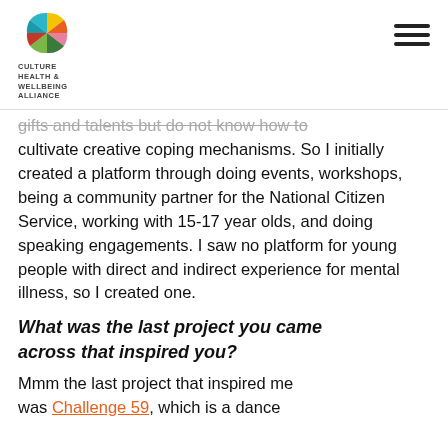Culture Health & Wellbeing Alliance
gifts and talents but do not know how to cultivate creative coping mechanisms. So I initially created a platform through doing events, workshops, being a community partner for the National Citizen Service, working with 15-17 year olds, and doing speaking engagements. I saw no platform for young people with direct and indirect experience for mental illness, so I created one.
What was the last project you came across that inspired you?
Mmm the last project that inspired me was Challenge 59, which is a dance